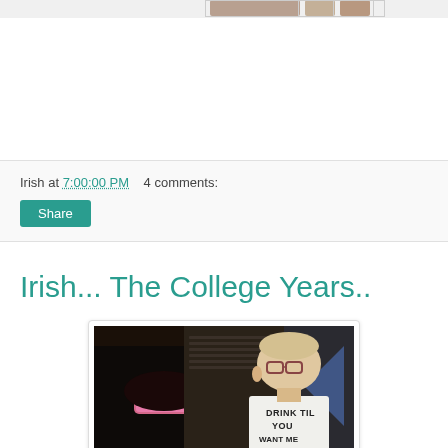[Figure (photo): Partial view of photo strip at top of page - small thumbnails visible]
Irish at 7:00:00 PM    4 comments:
Share
Irish... The College Years..
[Figure (photo): Photo of a young man wearing glasses and a white t-shirt reading 'DRINK TIL YOU WANT ME', leaning over, with a woman in a pink headband visible in front of him. Dark indoor setting.]